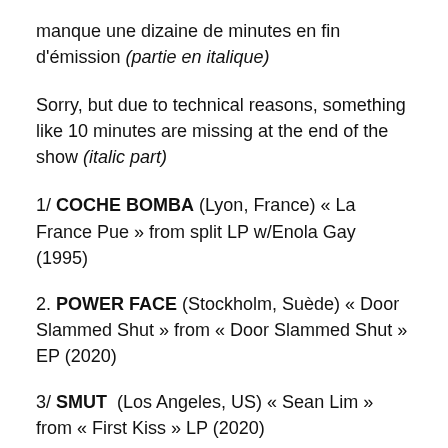manque une dizaine de minutes en fin d'émission (partie en italique)
Sorry, but due to technical reasons, something like 10 minutes are missing at the end of the show (italic part)
1/ COCHE BOMBA (Lyon, France) « La France Pue » from split LP w/Enola Gay (1995)
2. POWER FACE (Stockholm, Suède) « Door Slammed Shut » from « Door Slammed Shut » EP (2020)
3/ SMUT (Los Angeles, US) « Sean Lim » from « First Kiss » LP (2020)